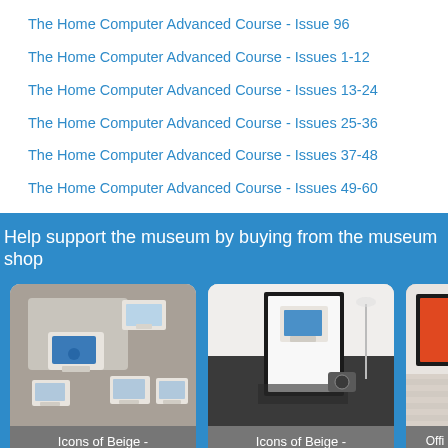The Home Computer Advanced Course - Issue 96
The Home Computer Advanced Course - Issues 1-12
The Home Computer Advanced Course - Issues 13-24
The Home Computer Advanced Course - Issues 25-36
The Home Computer Advanced Course - Issues 37-48
The Home Computer Advanced Course - Issues 49-60
Help support the museum by buying from the museum shop
[Figure (photo): Icons of Beige - Postcard Set product image showing a set of retro computer postcards]
Icons of Beige -
Postcard Set
[Figure (photo): Icons of Beige - Poster Prints product image showing a framed retro computer poster]
Icons of Beige -
Poster Prints
[Figure (photo): Partial view of another shop item]
Offi
John